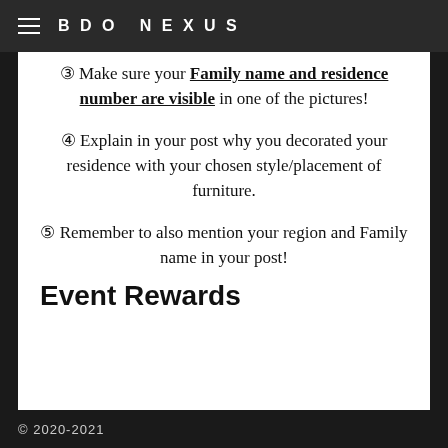BDO NEXUS
③ Make sure your Family name and residence number are visible in one of the pictures!
④ Explain in your post why you decorated your residence with your chosen style/placement of furniture.
⑤ Remember to also mention your region and Family name in your post!
Event Rewards
© 2020-2021